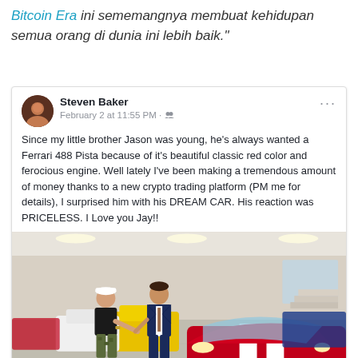Bitcoin Era ini sememangnya membuat kehidupan semua orang di dunia ini lebih baik."
[Figure (screenshot): A Facebook post by Steven Baker dated February 2 at 11:55 PM. The post includes text about surprising his brother Jason with a Ferrari 488 Pista, and a photo of two men posing in a Ferrari dealership showroom with a red Ferrari in the foreground and multiple colorful Ferraris in the background.]